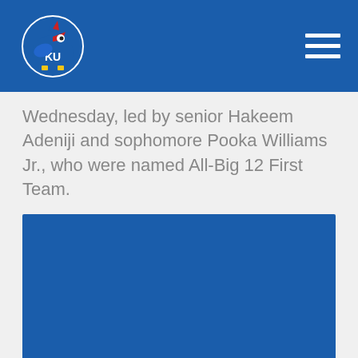University of Kansas header with KU Jayhawk logo and navigation menu
Wednesday, led by senior Hakeem Adeniji and sophomore Pooka Williams Jr., who were named All-Big 12 First Team.
[Figure (photo): Blue rectangular image placeholder (photo content not visible)]
November 07, 2019